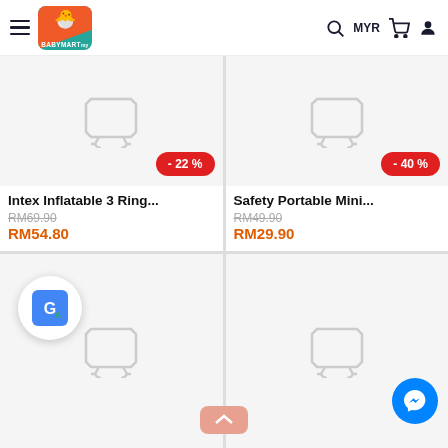[Figure (screenshot): BabyMart e-commerce website header with hamburger menu, BabyMart logo, search icon, MYR currency label, cart icon, and user icon]
[Figure (screenshot): Product card: Intex Inflatable 3 Ring... with -22% discount badge, original price RM69.90 struck through, sale price RM54.80]
[Figure (screenshot): Product card: Safety Portable Mini... with -40% discount badge, original price RM49.90 struck through, sale price RM29.90]
[Figure (screenshot): Partial product card bottom-left, no price visible yet]
[Figure (screenshot): Partial product card bottom-right with Messenger chat button overlay]